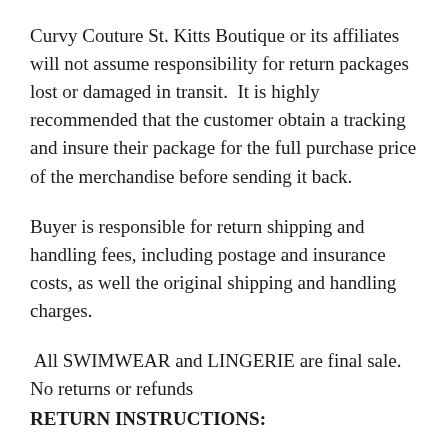Curvy Couture St. Kitts Boutique or its affiliates will not assume responsibility for return packages lost or damaged in transit.  It is highly recommended that the customer obtain a tracking and insure their package for the full purchase price of the merchandise before sending it back.
Buyer is responsible for return shipping and handling fees, including postage and insurance costs, as well the original shipping and handling charges.
All SWIMWEAR and LINGERIE are final sale. No returns or refunds
RETURN INSTRUCTIONS: